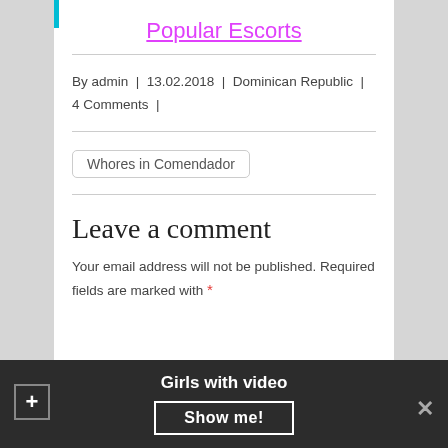Popular Escorts
By admin | 13.02.2018 | Dominican Republic | 4 Comments |
Whores in Comendador
Leave a comment
Your email address will not be published. Required fields are marked with *
Girls with video
Show me!